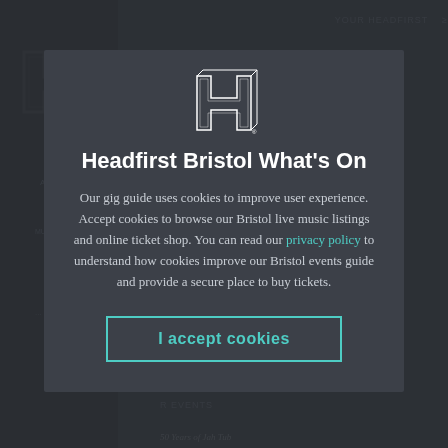[Figure (logo): Headfirst Bristol geometric H logo in white outline style, centered at top of modal]
Headfirst Bristol What's On
Our gig guide uses cookies to improve user experience. Accept cookies to browse our Bristol live music listings and online ticket shop. You can read our privacy policy to understand how cookies improve our Bristol events guide and provide a secure place to buy tickets.
I accept cookies